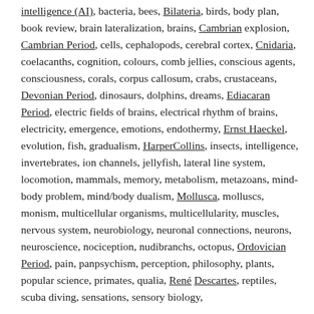intelligence (AI), bacteria, bees, Bilateria, birds, body plan, book review, brain lateralization, brains, Cambrian explosion, Cambrian Period, cells, cephalopods, cerebral cortex, Cnidaria, coelacanths, cognition, colours, comb jellies, conscious agents, consciousness, corals, corpus callosum, crabs, crustaceans, Devonian Period, dinosaurs, dolphins, dreams, Ediacaran Period, electric fields of brains, electrical rhythm of brains, electricity, emergence, emotions, endothermy, Ernst Haeckel, evolution, fish, gradualism, HarperCollins, insects, intelligence, invertebrates, ion channels, jellyfish, lateral line system, locomotion, mammals, memory, metabolism, metazoans, mind-body problem, mind/body dualism, Mollusca, molluscs, monism, multicellular organisms, multicellularity, muscles, nervous system, neurobiology, neuronal connections, neurons, neuroscience, nociception, nudibranchs, octopus, Ordovician Period, pain, panpsychism, perception, philosophy, plants, popular science, primates, qualia, René Descartes, reptiles, scuba diving, sensations, sensory biology,